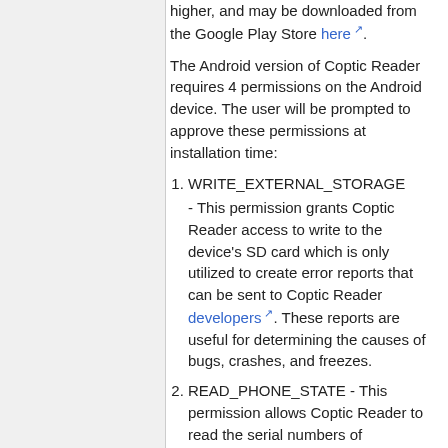Android device with Android 4.0 or higher, and may be downloaded from the Google Play Store here.
The Android version of Coptic Reader requires 4 permissions on the Android device. The user will be prompted to approve these permissions at installation time:
WRITE_EXTERNAL_STORAGE - This permission grants Coptic Reader access to write to the device's SD card which is only utilized to create error reports that can be sent to Coptic Reader developers. These reports are useful for determining the causes of bugs, crashes, and freezes.
READ_PHONE_STATE - This permission allows Coptic Reader to read the serial numbers of